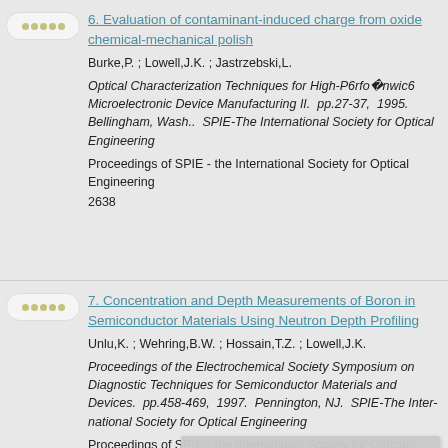6. Evaluation of contaminant-induced charge from oxide chemical-mechanical polish
Burke,P. ; Lowell,J.K. ; Jastrzebski,L.
Optical Characterization Techniques for High-P6rfo nwic6 Microelectronic Device Manufacturing II. pp.27-37, 1995. Bellingham, Wash.. SPIE-The International Society for Optical Engineering
Proceedings of SPIE - the International Society for Optical Engineering
2638
7. Concentration and Depth Measurements of Boron in Semiconductor Materials Using Neutron Depth Profiling
Unlu,K. ; Wehring,B.W. ; Hossain,T.Z. ; Lowell,J.K.
Proceedings of the Electrochemical Society Symposium on Diagnostic Techniques for Semiconductor Materials and Devices. pp.458-469, 1997. Pennington, NJ. SPIE-The International Society for Optical Engineering
Proceedings of SPIE - the International Society for Optical Engineering
updating availability status information...